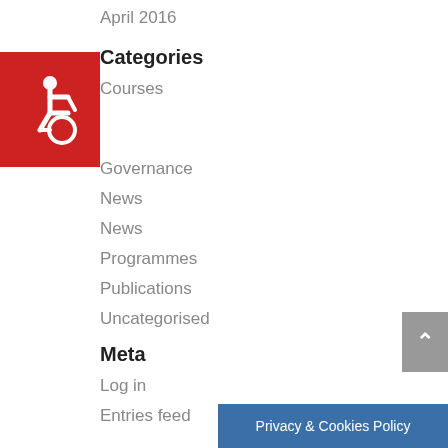April 2016
Categories
Courses
Governance
News
News
Programmes
Publications
Uncategorised
Meta
Log in
Entries feed
[Figure (illustration): Red square with white wheelchair accessibility icon]
[Figure (illustration): Grey scroll-to-top button with upward chevron]
[Figure (illustration): Blue Privacy & Cookies Policy button]